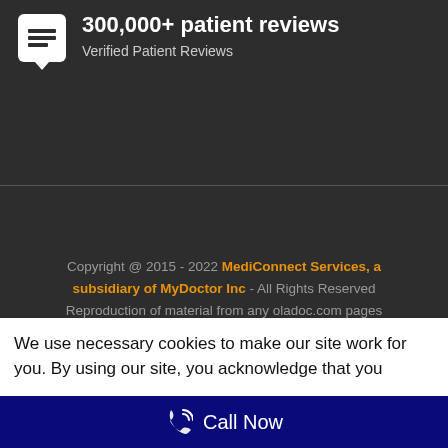300,000+ patient reviews
Verified Patient Reviews
Copyright @ 2015 - 2022 MediConnect Services, a subsidiary of MyDoctor Inc - All Rights Reserved
Reproduction of material from any oladoc.com pages without permission is strictly prohibited.
Connect with us
We use necessary cookies to make our site work for you. By using our site, you acknowledge that you
Call Now